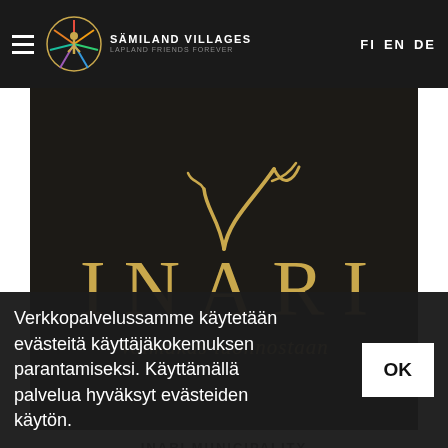SÄMILAND VILLAGES LAPLAND FRIENDS FOREVER — FI EN DE
[Figure (logo): Inari municipality logo on dark background: antler icon above large gold serif text 'INARI' and italic tagline 'Voimakas luonnostaan']
INARI MUNICIPALITY
Inari is the largest municipality in Finland and it was established in 1876.
Verkkopalvelussamme käytetään evästeitä käyttäjäkokemuksen parantamiseksi. Käyttämällä palvelua hyväksyt evästeiden käytön.